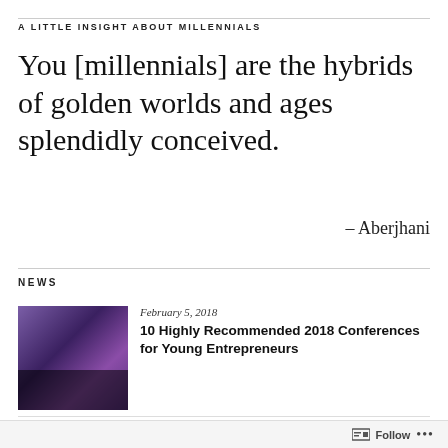A LITTLE INSIGHT ABOUT MILLENNIALS
You [millennials] are the hybrids of golden worlds and ages splendidly conceived.
– Aberjhani
NEWS
[Figure (photo): Dark purple/blue photo of a large crowd at an event or conference with purple lighting]
February 5, 2018
10 Highly Recommended 2018 Conferences for Young Entrepreneurs
[Figure (photo): Partial thumbnail image, brownish tones, partially visible]
August 1, 2016